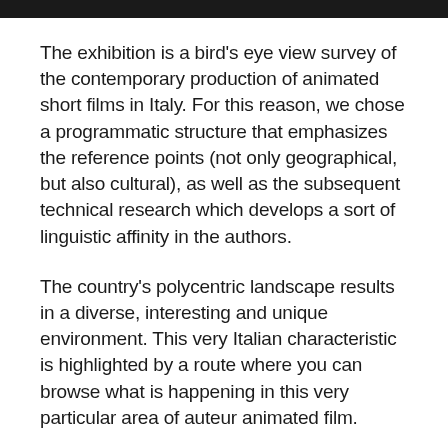[Figure (other): Black horizontal bar at the top of the page]
The exhibition is a bird's eye view survey of the contemporary production of animated short films in Italy. For this reason, we chose a programmatic structure that emphasizes the reference points (not only geographical, but also cultural), as well as the subsequent technical research which develops a sort of linguistic affinity in the authors.
The country's polycentric landscape results in a diverse, interesting and unique environment. This very Italian characteristic is highlighted by a route where you can browse what is happening in this very particular area of auteur animated film.
And so, we start with the classic technique of drawn animation and, therefore, at the Urbino School of the Book, Roberto Catani, Gianluigi